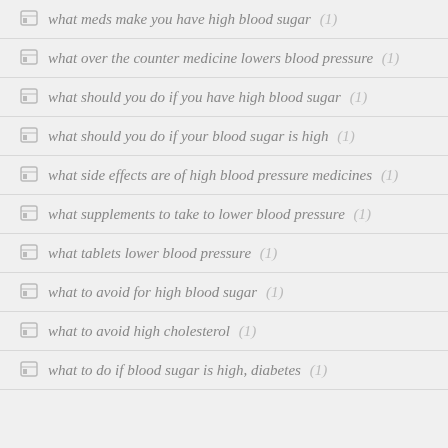what meds make you have high blood sugar (1)
what over the counter medicine lowers blood pressure (1)
what should you do if you have high blood sugar (1)
what should you do if your blood sugar is high (1)
what side effects are of high blood pressure medicines (1)
what supplements to take to lower blood pressure (1)
what tablets lower blood pressure (1)
what to avoid for high blood sugar (1)
what to avoid high cholesterol (1)
what to do if blood sugar is high, diabetes (1)